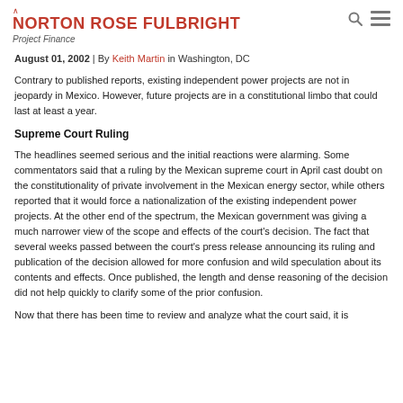NORTON ROSE FULBRIGHT — Project Finance
August 01, 2002 | By Keith Martin in Washington, DC
Contrary to published reports, existing independent power projects are not in jeopardy in Mexico. However, future projects are in a constitutional limbo that could last at least a year.
Supreme Court Ruling
The headlines seemed serious and the initial reactions were alarming. Some commentators said that a ruling by the Mexican supreme court in April cast doubt on the constitutionality of private involvement in the Mexican energy sector, while others reported that it would force a nationalization of the existing independent power projects. At the other end of the spectrum, the Mexican government was giving a much narrower view of the scope and effects of the court's decision. The fact that several weeks passed between the court's press release announcing its ruling and publication of the decision allowed for more confusion and wild speculation about its contents and effects. Once published, the length and dense reasoning of the decision did not help quickly to clarify some of the prior confusion.
Now that there has been time to review and analyze what the court said, it is